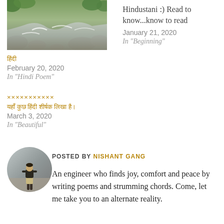[Figure (photo): A river with rapids flowing over rocks, surrounded by green foliage]
हिंदी
February 20, 2020
In "Hindi Poem"
Hindustani :) Read to know...know to read
January 21, 2020
In "Beginning"
×××××××××××
यहाँ कुछ हिंदी शीर्षक लिखा है।
March 3, 2020
In "Beautiful"
[Figure (photo): Circular avatar photo of a person standing on a beach/rocky area, seen from behind]
POSTED BY NISHANT GANG
An engineer who finds joy, comfort and peace by writing poems and strumming chords. Come, let me take you to an alternate reality.